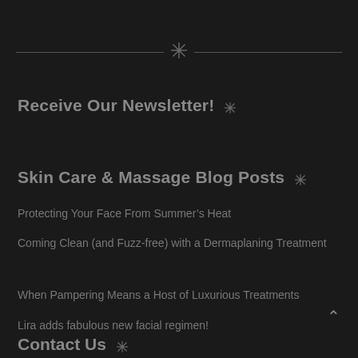[Figure (other): Decorative horizontal divider with a snowflake/asterisk icon in the center]
Receive Our Newsletter! ❊
Skin Care & Massage Blog Posts ❊
Protecting Your Face From Summer's Heat
Coming Clean (and Fuzz-free) with a Dermaplaning Treatment
When Pampering Means a Host of Luxurious Treatments
Lira adds fabulous new facial regimen!
Contact Us ❊